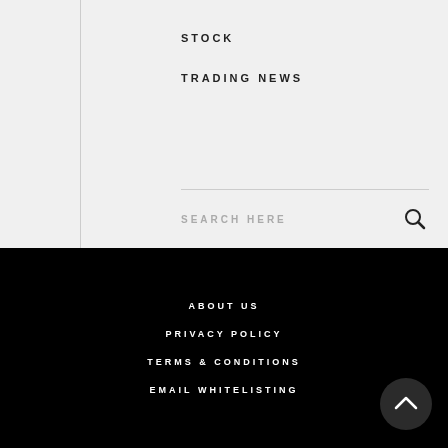STOCK
TRADING NEWS
SEARCH HERE
ABOUT US
PRIVACY POLICY
TERMS & CONDITIONS
EMAIL WHITELISTING